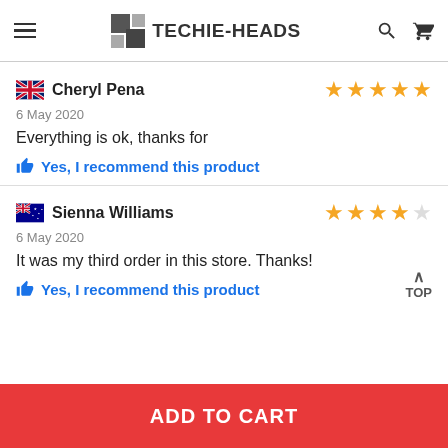TECHIE-HEADS
Cheryl Pena — 5 stars — 6 May 2020 — Everything is ok, thanks for — Yes, I recommend this product
Sienna Williams — 4 stars — 6 May 2020 — It was my third order in this store. Thanks! — Yes, I recommend this product
ADD TO CART